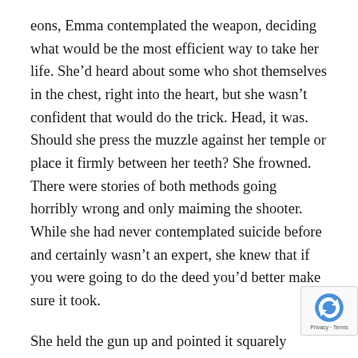eons, Emma contemplated the weapon, deciding what would be the most efficient way to take her life. She'd heard about some who shot themselves in the chest, right into the heart, but she wasn't confident that would do the trick. Head, it was. Should she press the muzzle against her temple or place it firmly between her teeth? She frowned. There were stories of both methods going horribly wrong and only maiming the shooter. While she had never contemplated suicide before and certainly wasn't an expert, she knew that if you were going to do the deed you'd better make sure it took.
She held the gun up and pointed it squarely between her eyes. The muzzle stared back at her, the black void promising her peace at last. This was it. She pressed the